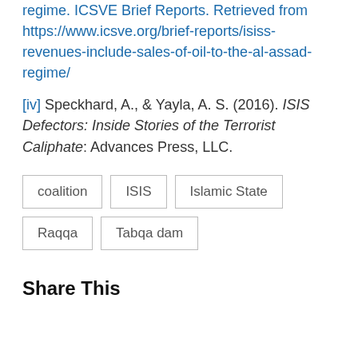regime. ICSVE Brief Reports. Retrieved from https://www.icsve.org/brief-reports/isiss-revenues-include-sales-of-oil-to-the-al-assad-regime/
[iv] Speckhard, A., & Yayla, A. S. (2016). ISIS Defectors: Inside Stories of the Terrorist Caliphate: Advances Press, LLC.
coalition
ISIS
Islamic State
Raqqa
Tabqa dam
Share This